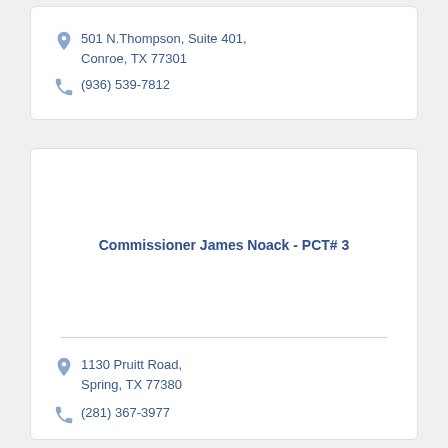501 N.Thompson, Suite 401, Conroe, TX 77301
(936) 539-7812
Commissioner James Noack - PCT# 3
1130 Pruitt Road, Spring, TX 77380
(281) 367-3977